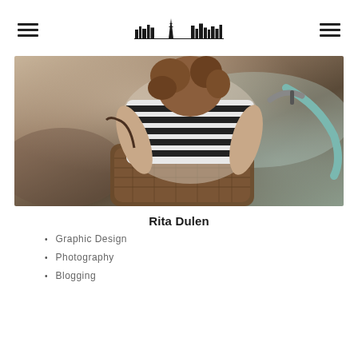Navigation header with hamburger menus and city skyline logo
[Figure (photo): A young child in a black and white striped shirt leaning over a wicker bicycle basket, with a teal bicycle visible, warm vintage-toned photograph]
Rita Dulen
Graphic Design
Photography
Blogging